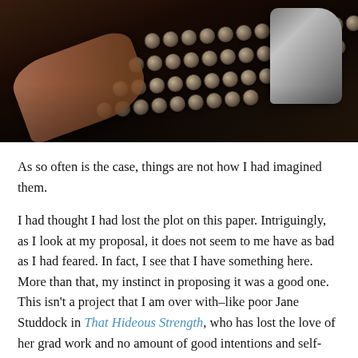[Figure (photo): Close-up photograph of hands typing on an antique/vintage typewriter, showing round metallic keys and chrome parts against a dark background.]
As so often is the case, things are not how I had imagined them.
I had thought I had lost the plot on this paper. Intriguingly, as I look at my proposal, it does not seem to me have as bad as I had feared. In fact, I see that I have something here. More than that, my instinct in proposing it was a good one. This isn't a project that I am over with–like poor Jane Studdock in That Hideous Strength, who has lost the love of her grad work and no amount of good intentions and self-accusation can restart it again. No, that's not the